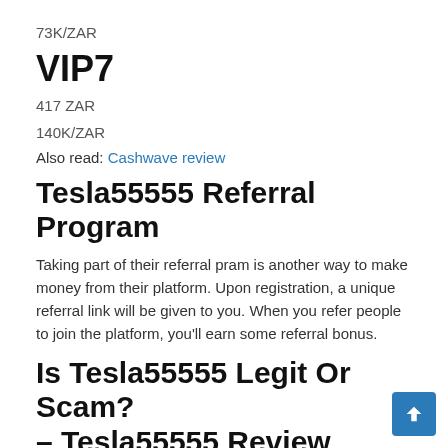73K/ZAR
VIP7
417 ZAR
140K/ZAR
Also read: Cashwave review
Tesla55555 Referral Program
Taking part of their referral pram is another way to make money from their platform. Upon registration, a unique referral link will be given to you. When you refer people to join the platform, you'll earn some referral bonus.
Is Tesla55555 Legit Or Scam? – Tesla55555 Review